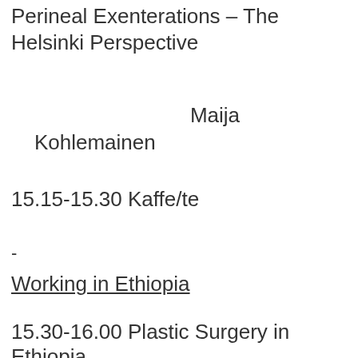Perineal Exenterations – The Helsinki Perspective
Maija Kohlemainen
15.15-15.30 Kaffe/te
-
Working in Ethiopia
15.30-16.00 Plastic Surgery in Ethiopia